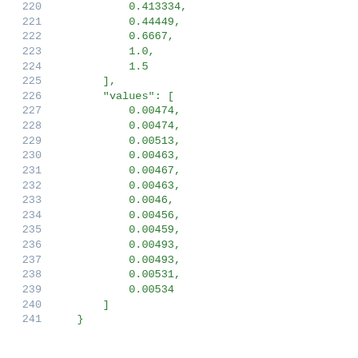Code listing showing JSON data with line numbers 220-241, containing numeric array values and a 'values' array key.